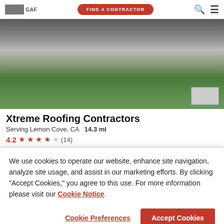GAF | FIND A CONTRACTOR
[Figure (photo): Exterior photo of a house with dark garage doors, stone facade, and landscaping with evergreen trees]
Xtreme Roofing Contractors
Serving Lemon Cove, CA   14.3 ml
4.2 ★★★★☆ (14)
MESSAGE US | (559) 622-9270 | VIEW PROFILE
We use cookies to operate our website, enhance site navigation, analyze site usage, and assist in our marketing efforts. By clicking "Accept Cookies," you agree to this use. For more information please visit our Cookie Notice.
Cookie Preferences | Accept Cookies